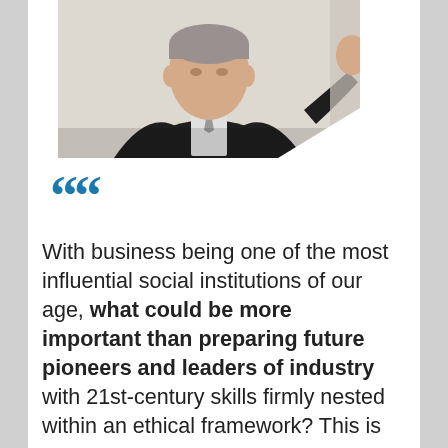[Figure (photo): A man in a dark suit and tie, photographed from chest up, appears to be at a formal or professional event.]
““
With business being one of the most influential social institutions of our age, what could be more important than preparing future pioneers and leaders of industry with 21st-century skills firmly nested within an ethical framework? This is